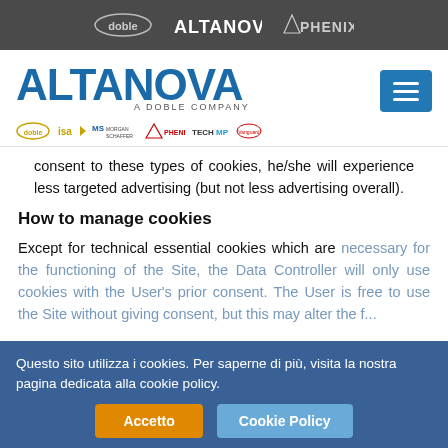doble ALTANOVA PHENIX
[Figure (logo): ALTANOVA - A Doble Company logo with sub-brand logos: doble, isa, MS Morgan Schaffer, PHENIX, TECHMP, Vanguard]
consent to these types of cookies, he/she will experience less targeted advertising (but not less advertising overall).
How to manage cookies
Except for technical essential cookies which are necessary for the functioning of the Site, the Data Controller will only use cookies with the User's prior consent. The User is free to use the Site without giving consent, but this may alter the f...
Questo sito utilizza i cookies. Per saperne di più, visita la nostra pagina dedicata alla cookie policy.